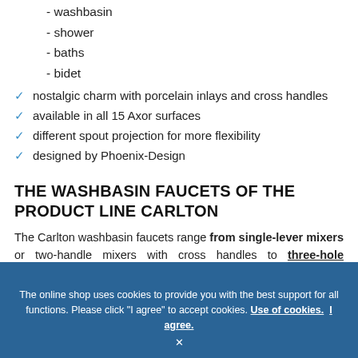- washbasin
- shower
- baths
- bidet
✓ nostalgic charm with porcelain inlays and cross handles
✓ available in all 15 Axor surfaces
✓ different spout projection for more flexibility
✓ designed by Phoenix-Design
THE WASHBASIN FAUCETS OF THE PRODUCT LINE CARLTON
The Carlton washbasin faucets range from single-lever mixers or two-handle mixers with cross handles to three-hole versions, also with cross handles and...
The online shop uses cookies to provide you with the best support for all functions. Please click "I agree" to accept cookies. Use of cookies. I agree.
×